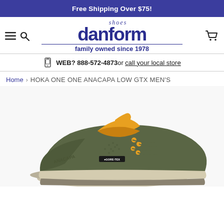Free Shipping Over $75!
[Figure (logo): Danform Shoes logo with 'shoes' in italic script above 'danform' in bold dark blue, underline, and 'family owned since 1978' tagline]
WEB? 888-572-4873 or call your local store
Home › HOKA ONE ONE ANACAPA LOW GTX MEN'S
[Figure (photo): Close-up photo of a Hoka One One Anacapa Low GTX men's hiking shoe in olive green with yellow/orange accents, GORE-TEX label visible, side angle view on white background]